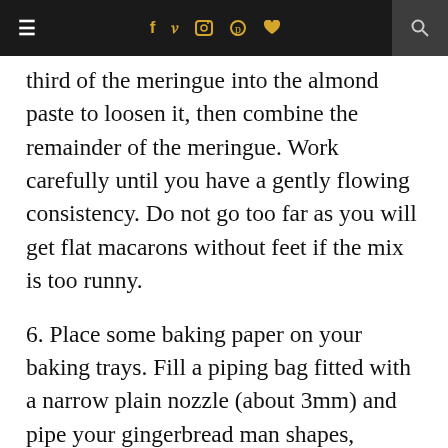≡  f  twitter  instagram  pinterest  heart  search
third of the meringue into the almond paste to loosen it, then combine the remainder of the meringue. Work carefully until you have a gently flowing consistency. Do not go too far as you will get flat macarons without feet if the mix is too runny.
6. Place some baking paper on your baking trays. Fill a piping bag fitted with a narrow plain nozzle (about 3mm) and pipe your gingerbread man shapes, leaving a space between each one.
7. Lightly tap the baking sheet on your work surface and leave the macarons to rest for about half an hour. Rest the...